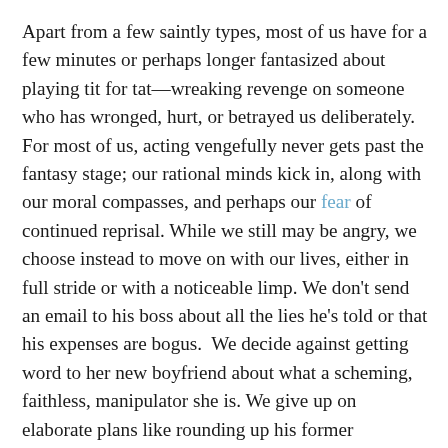Apart from a few saintly types, most of us have for a few minutes or perhaps longer fantasized about playing tit for tat—wreaking revenge on someone who has wronged, hurt, or betrayed us deliberately. For most of us, acting vengefully never gets past the fantasy stage; our rational minds kick in, along with our moral compasses, and perhaps our fear of continued reprisal. While we still may be angry, we choose instead to move on with our lives, either in full stride or with a noticeable limp. We don't send an email to his boss about all the lies he's told or that his expenses are bogus.  We decide against getting word to her new boyfriend about what a scheming, faithless, manipulator she is. We give up on elaborate plans like rounding up his former disgruntled clients so we can try to get him disbarred or lose his realtor license. Revenge may be sweet, as the saying goes, but most of us settle for eating bonbons or perhaps buying a voodoo